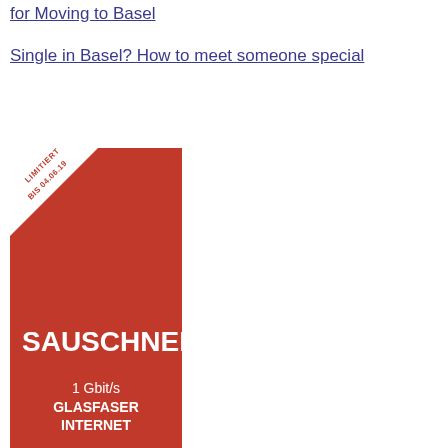for Moving to Basel
Single in Basel? How to meet someone special
[Figure (illustration): Advertisement banner for internet service: red rectangle with white corner badge reading 'LIMITIERT BIS 04.06.19', large white text 'SAUSCHNELL', and '1 Gbit/s GLASFASER INTERNET' below]